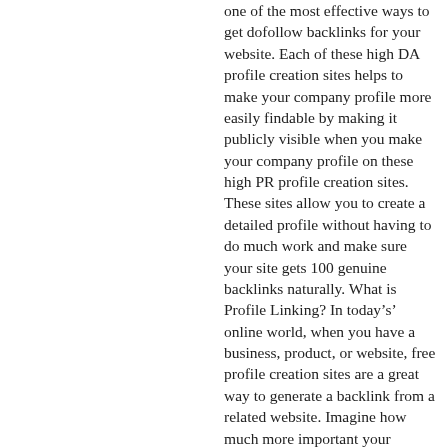one of the most effective ways to get dofollow backlinks for your website. Each of these high DA profile creation sites helps to make your company profile more easily findable by making it publicly visible when you make your company profile on these high PR profile creation sites. These sites allow you to create a detailed profile without having to do much work and make sure your site gets 100 genuine backlinks naturally. What is Profile Linking? In today’s’ online world, when you have a business, product, or website, free profile creation sites are a great way to generate a backlink from a related website. Imagine how much more important your company would be if you had a large number of backlinks from diverse sources! Many of these dofollow profile creation sites are with high domain authority DA and offer Dofollow